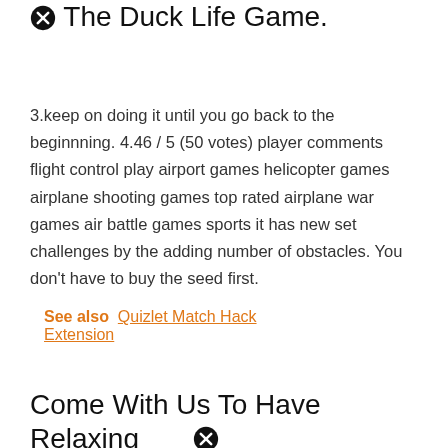Hacked Is Better Version Of The Duck Life Game.
3.keep on doing it until you go back to the beginnning. 4.46 / 5 (50 votes) player comments flight control play airport games helicopter games airplane shooting games top rated airplane war games air battle games sports it has new set challenges by the adding number of obstacles. You don't have to buy the seed first.
See also  Quizlet Match Hack Extension
Come With Us To Have Relaxing